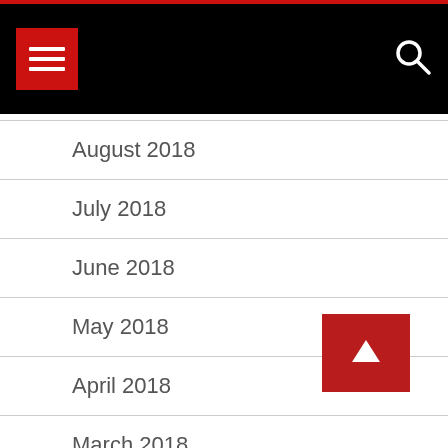Navigation header with menu and search
August 2018
July 2018
June 2018
May 2018
April 2018
March 2018
February 2018
January 2018
December 2017